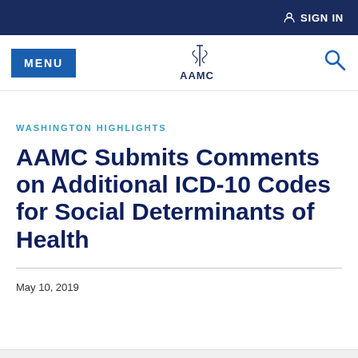SIGN IN
[Figure (logo): AAMC logo with caduceus symbol and AAMC text]
WASHINGTON HIGHLIGHTS
AAMC Submits Comments on Additional ICD-10 Codes for Social Determinants of Health
May 10, 2019